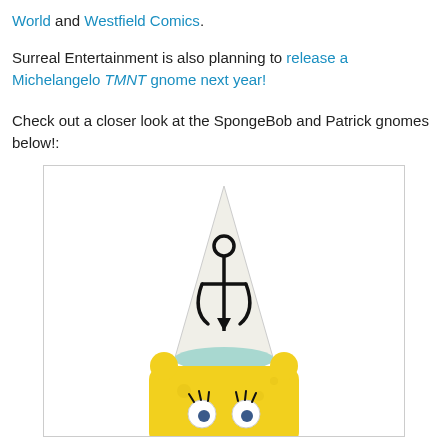World and Westfield Comics.
Surreal Entertainment is also planning to release a Michelangelo TMNT gnome next year!
Check out a closer look at the SpongeBob and Patrick gnomes below!:
[Figure (photo): A SpongeBob SquarePants gnome figurine with a white conical gnome hat decorated with a black anchor symbol, and yellow SpongeBob head/body visible below.]